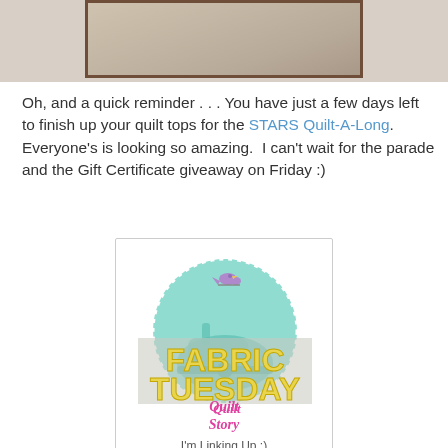[Figure (photo): Partial photo of a quilt or framed item on a surface, showing a dark brown border frame]
Oh, and a quick reminder . . . You have just a few days left to finish up your quilt tops for the STARS Quilt-A-Long. Everyone's is looking so amazing. I can't wait for the parade and the Gift Certificate giveaway on Friday :)
[Figure (logo): Fabric Tuesday Quilt Story badge logo with a bird, sewing machine, teal circle, yellow bold text FABRIC TUESDAY, and pink cursive Quilt Story text. Bottom text: I'm Linking Up :)]